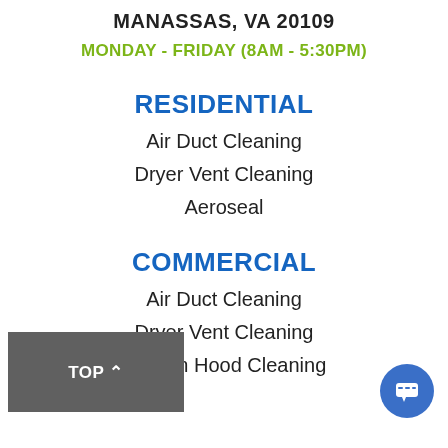MANASSAS, VA 20109
MONDAY - FRIDAY (8AM - 5:30PM)
RESIDENTIAL
Air Duct Cleaning
Dryer Vent Cleaning
Aeroseal
COMMERCIAL
Air Duct Cleaning
Dryer Vent Cleaning
Kitchen Hood Cleaning